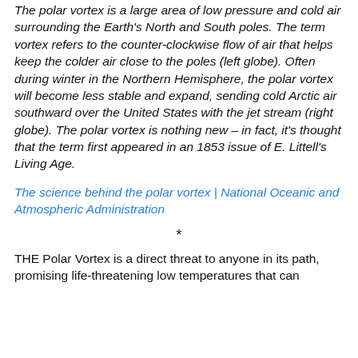The polar vortex is a large area of low pressure and cold air surrounding the Earth's North and South poles. The term vortex refers to the counter-clockwise flow of air that helps keep the colder air close to the poles (left globe). Often during winter in the Northern Hemisphere, the polar vortex will become less stable and expand, sending cold Arctic air southward over the United States with the jet stream (right globe). The polar vortex is nothing new – in fact, it's thought that the term first appeared in an 1853 issue of E. Littell's Living Age.
The science behind the polar vortex | National Oceanic and Atmospheric Administration
*
THE Polar Vortex is a direct threat to anyone in its path, promising life-threatening low temperatures that can